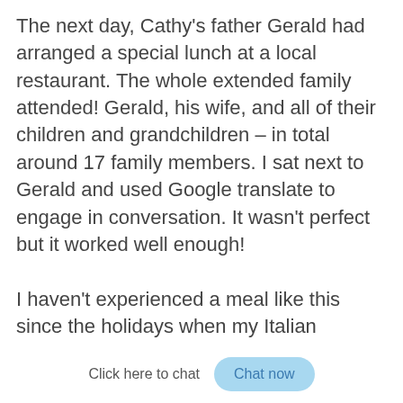The next day, Cathy's father Gerald had arranged a special lunch at a local restaurant.  The whole extended family attended!  Gerald, his wife, and all of their children and grandchildren – in total around 17 family members.  I sat next to Gerald and used Google translate to engage in conversation.  It wasn't perfect but it worked well enough!
I haven't experienced a meal like this since the holidays when my Italian Grandparents were still alive.  Food is a form of art in Italy and course after course of amazing artistry kept coming out of the kitchen until our eyes were popping out o...
Click here to chat
Chat now